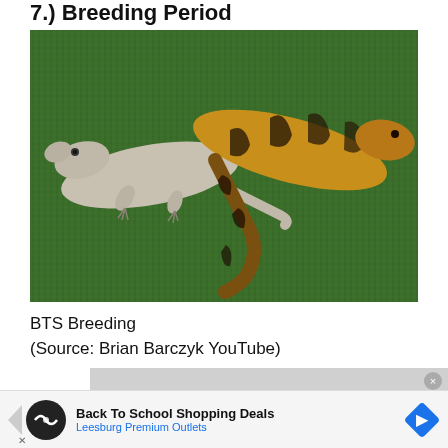7.) Breeding Period
[Figure (photo): Two blue-tongued skinks (BTS) on a green artificial turf surface, photographed during breeding behavior. One skink is lighter colored and the other has brown and dark banded patterning.]
BTS Breeding
(Source: Brian Barczyk YouTube)
[Figure (screenshot): Video player showing 'No compatible source was found for this media.' error message on a grey background.]
Back To School Shopping Deals
Leesburg Premium Outlets